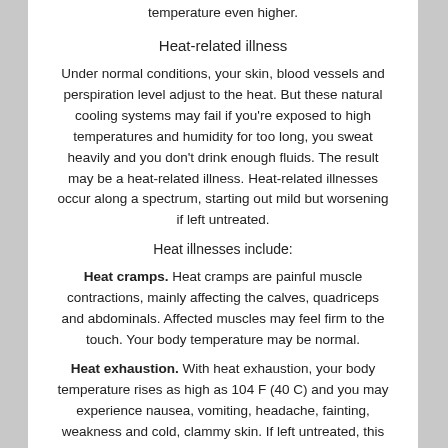temperature even higher.
Heat-related illness
Under normal conditions, your skin, blood vessels and perspiration level adjust to the heat. But these natural cooling systems may fail if you're exposed to high temperatures and humidity for too long, you sweat heavily and you don't drink enough fluids. The result may be a heat-related illness. Heat-related illnesses occur along a spectrum, starting out mild but worsening if left untreated.
Heat illnesses include:
Heat cramps. Heat cramps are painful muscle contractions, mainly affecting the calves, quadriceps and abdominals. Affected muscles may feel firm to the touch. Your body temperature may be normal.
Heat exhaustion. With heat exhaustion, your body temperature rises as high as 104 F (40 C) and you may experience nausea, vomiting, headache, fainting, weakness and cold, clammy skin. If left untreated, this can lead to